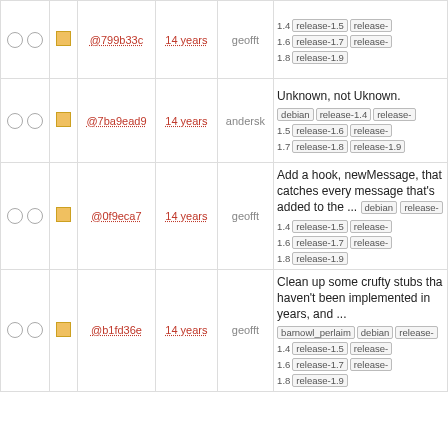|  |  | hash | age | user | message |
| --- | --- | --- | --- | --- | --- |
| ○○ | □ | @799b33c | 14 years | geofft | release-1.4 release-1.5 release-1.6 release-1.7 release-1.8 release-1.9 |
| ○○ | □ | @7ba9ead9 | 14 years | andersk | Unknown, not Uknown. debian release-1.4 release-1.5 release-1.6 release-1.7 release-1.8 release-1.9 |
| ○○ | □ | @0f9eca7 | 14 years | geofft | Add a hook, newMessage, that catches every message that's added to the ... debian release-1.4 release-1.5 release-1.6 release-1.7 release-1.8 release-1.9 |
| ○○ | □ | @b1fd36e | 14 years | geofft | Clean up some crufty stubs that haven't been implemented in years, and ... barnowl_perlaim debian release-1.4 release-1.5 release-1.6 release-1.7 release-1.8 release-1.9 |
| ○○ | □ | @628c897 | 14 years | nelhage | Update bugs email to a more professional looking address, and remove ... barnowl_perlaim debian release-1.4 release-1.5 release-1.6 release-1.7 release-1.8 release-1.9 |
| ○○ | □ | @81001c0 | 14 years | nelhage | Clean up licensing information and add a COPYING file. We're going to ... barnowl_perlaim debian release-1.4 release-1.5 release-1.6 release-1.7 release-1.8 release-1.9 |